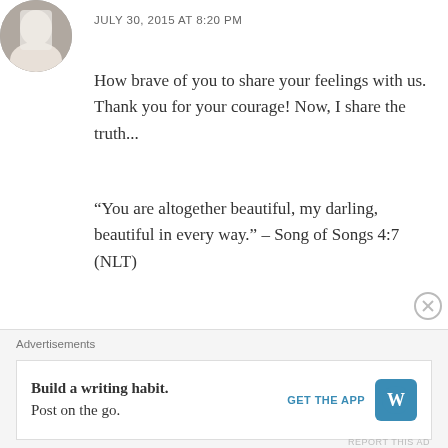[Figure (photo): Circular avatar photo of a person in white clothing]
JULY 30, 2015 AT 8:20 PM
How brave of you to share your feelings with us. Thank you for your courage! Now, I share the truth...
“You are altogether beautiful, my darling, beautiful in every way.” – Song of Songs 4:7 (NLT)
★ Like
Advertisements
Build a writing habit.
Post on the go.
GET THE APP